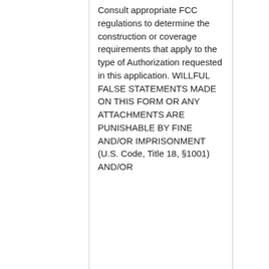Consult appropriate FCC regulations to determine the construction or coverage requirements that apply to the type of Authorization requested in this application. WILLFUL FALSE STATEMENTS MADE ON THIS FORM OR ANY ATTACHMENTS ARE PUNISHABLE BY FINE AND/OR IMPRISONMENT (U.S. Code, Title 18, §1001) AND/OR